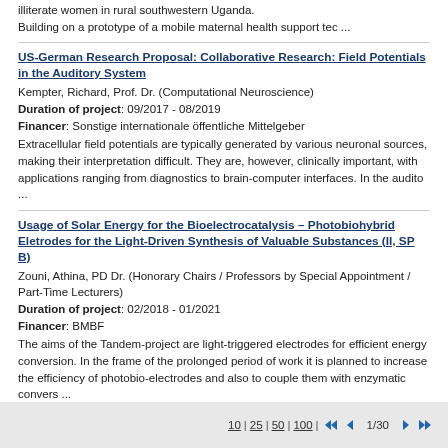illiterate women in rural southwestern Uganda.
Building on a prototype of a mobile maternal health support tec ...
US-German Research Proposal: Collaborative Research: Field Potentials in the Auditory System
Kempter, Richard, Prof. Dr. (Computational Neuroscience)
Duration of project: 09/2017 - 08/2019
Financer: Sonstige internationale öffentliche Mittelgeber
Extracellular field potentials are typically generated by various neuronal sources, making their interpretation difficult. They are, however, clinically important, with applications ranging from diagnostics to brain-computer interfaces. In the audito ...
Usage of Solar Energy for the Bioelectrocatalysis – Photobiohybrid Eletrodes for the Light-Driven Synthesis of Valuable Substances (II, SP B)
Zouni, Athina, PD Dr. (Honorary Chairs / Professors by Special Appointment / Part-Time Lecturers)
Duration of project: 02/2018 - 01/2021
Financer: BMBF
The aims of the Tandem-project are light-triggered electrodes for efficient energy conversion. In the frame of the prolonged period of work it is planned to increase the efficiency of photobio-electrodes and also to couple them with enzymatic convers ...
10 | 25 | 50 | 100   1/30